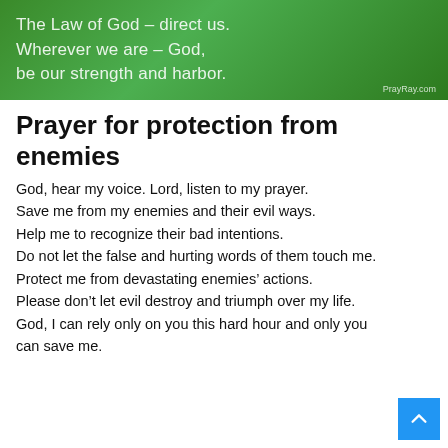[Figure (illustration): Green gradient banner image with white semi-transparent text reading 'The Law of God - direct us. Wherever we are - God, be our strength and harbor.' with PrayRay.com credit in bottom right corner.]
Prayer for protection from enemies
God, hear my voice. Lord, listen to my prayer.
Save me from my enemies and their evil ways.
Help me to recognize their bad intentions.
Do not let the false and hurting words of them touch me.
Protect me from devastating enemies’ actions.
Please don’t let evil destroy and triumph over my life.
God, I can rely only on you this hard hour and only you can save me.